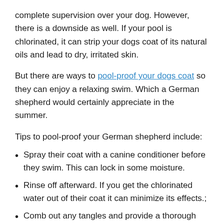complete supervision over your dog. However, there is a downside as well. If your pool is chlorinated, it can strip your dogs coat of its natural oils and lead to dry, irritated skin.
But there are ways to pool-proof your dogs coat so they can enjoy a relaxing swim. Which a German shepherd would certainly appreciate in the summer.
Tips to pool-proof your German shepherd include:
Spray their coat with a canine conditioner before they swim. This can lock in some moisture.
Rinse off afterward. If you get the chlorinated water out of their coat it can minimize its effects.;
Comb out any tangles and provide a thorough brushing once a week to remove any residual chlorine.